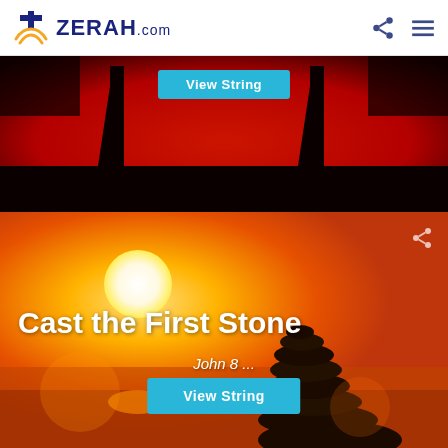ZERAH.com
[Figure (photo): Dark silhouette image with red background showing two tall thin shapes (possibly candles or figures) against a vivid red-to-black gradient, with a 'View String' button overlay]
[Figure (photo): Sunset background with stacked balancing stones (zen stones) silhouetted against an orange/yellow sky with a white sun. Overlaid text reads 'Cast the First Stone', 'John 8 ...', and a 'View String' button. Share icon in top right.]